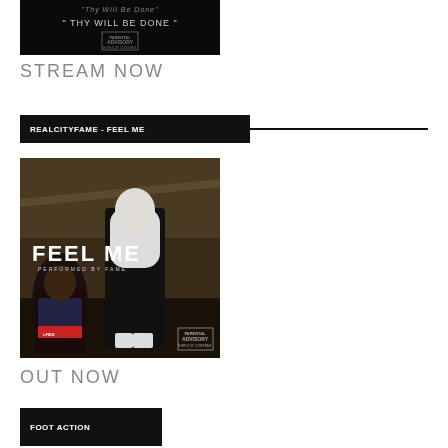[Figure (photo): Album art with black background showing 'THY WILL BE DONE' text and Parental Advisory label]
STREAM NOW
REALCITYFAME - FEEL ME
[Figure (photo): Album art for 'FEEL ME' by FAME showing two figures in a dark underpass setting with 'FEEL ME' text overlay and Parental Advisory label]
OUT NOW
FOOT ACTION